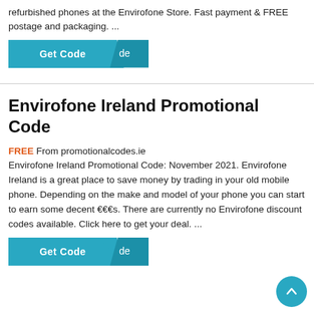refurbished phones at the Envirofone Store. Fast payment & FREE postage and packaging. ...
[Figure (other): Get Code button with teal background and arrow, showing 'de' text]
Envirofone Ireland Promotional Code
FREE From promotionalcodes.ie
Envirofone Ireland Promotional Code: November 2021. Envirofone Ireland is a great place to save money by trading in your old mobile phone. Depending on the make and model of your phone you can start to earn some decent €€€s. There are currently no Envirofone discount codes available. Click here to get your deal. ...
[Figure (other): Get Code button with teal background and arrow, showing 'de' text]